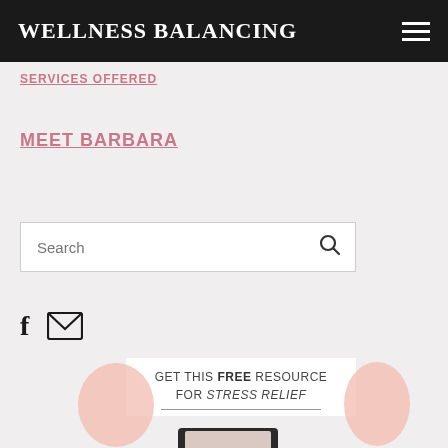WELLNESS BALANCING
SERVICES OFFERED
MEET BARBARA
[Figure (screenshot): Search bar with magnifying glass icon]
[Figure (infographic): Social icons: Facebook f and envelope/mail icon]
[Figure (infographic): Promotional card: GET THIS FREE RESOURCE FOR STRESS RELIEF with pink blob decorations and tablet preview image]